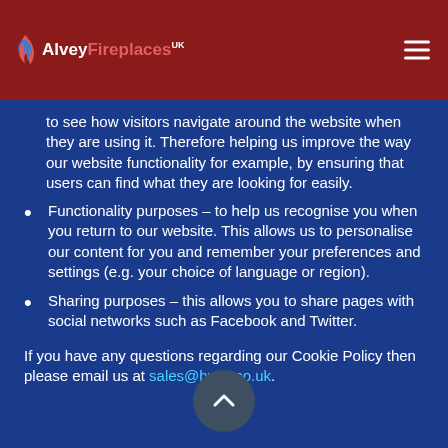Alvey Fireplaces
to see how visitors navigate around the website when they are using it. Therefore helping us improve the way our website functionality for example, by ensuring that users can find what they are looking for easily.
Functionality purposes – to help us recognise you when you return to our website. This allows us to personalise our content for you and remember your preferences and settings (e.g. your choice of language or region).
Sharing purposes – this allows you to share pages with social networks such as Facebook and Twitter.
If you have any questions regarding our Cookie Policy then please email us at sales@bwar.co.uk.